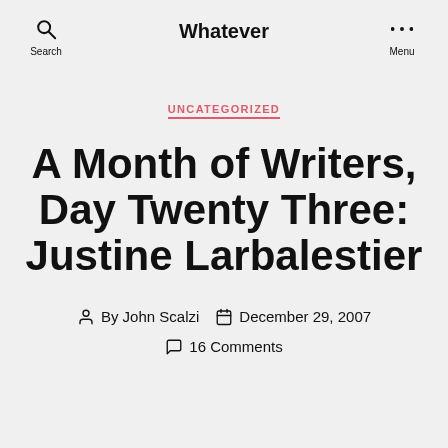Whatever
UNCATEGORIZED
A Month of Writers, Day Twenty Three: Justine Larbalestier
By John Scalzi  December 29, 2007
16 Comments